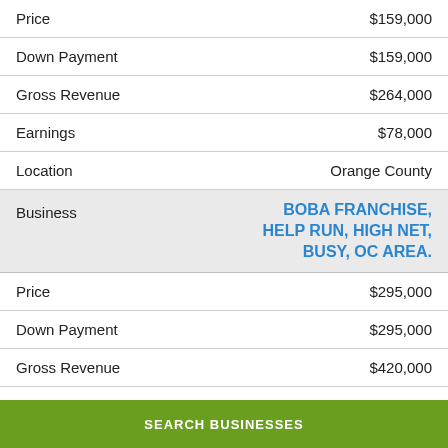| Field | Value |
| --- | --- |
| Price | $159,000 |
| Down Payment | $159,000 |
| Gross Revenue | $264,000 |
| Earnings | $78,000 |
| Location | Orange County |
| Business | BOBA FRANCHISE, HELP RUN, HIGH NET, BUSY, OC AREA. |
| Price | $295,000 |
| Down Payment | $295,000 |
| Gross Revenue | $420,000 |
| Earnings | $120,000 |
| Location | Orange County |
| Business | Cafe and Bakery, 6 Days Operation |
SEARCH BUSINESSES